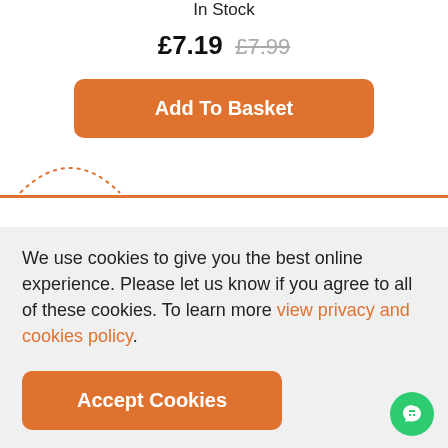In Stock
£7.19  £7.99
Add To Basket
We use cookies to give you the best online experience. Please let us know if you agree to all of these cookies. To learn more view privacy and cookies policy.
Accept Cookies